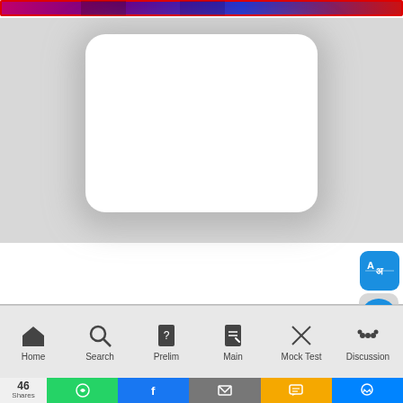[Figure (screenshot): Top banner with gradient colors pink, purple, blue, red with border]
[Figure (screenshot): White rounded card with drop shadow on light background]
[Figure (screenshot): Blue translate button (A/अ icon) in bottom right area]
[Figure (screenshot): Blue circle scroll-to-top button in bottom right area]
[Figure (screenshot): Navigation bar at bottom with Home, Search, Prelim, Main, Mock Test, Discussion icons and labels]
[Figure (screenshot): Share bar at bottom with 46 Shares count and WhatsApp, Facebook, Email, SMS, Messenger buttons]